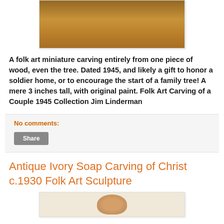[Figure (photo): Bottom portion of a wooden folk art carving showing a rectangular wood base, light brown/tan color with wood grain texture]
A folk art miniature carving entirely from one piece of wood, even the tree. Dated 1945, and likely a gift to honor a soldier home, or to encourage the start of a family tree! A mere 3 inches tall, with original paint. Folk Art Carving of a Couple 1945 Collection Jim Linderman
No comments:
Share
Antique Ivory Soap Carving of Christ c.1930 Folk Art Sculpture
[Figure (photo): Partial view of an ivory soap carving, showing a rounded form at the bottom of the page]